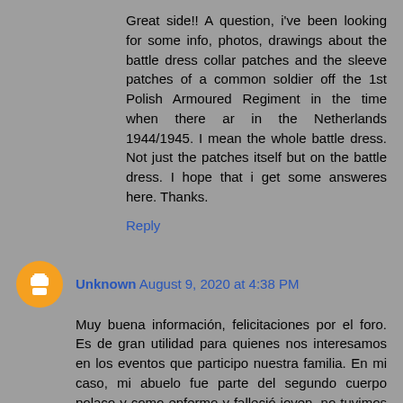Great side!! A question, i've been looking for some info, photos, drawings about the battle dress collar patches and the sleeve patches of a common soldier off the 1st Polish Armoured Regiment in the time when there ar in the Netherlands 1944/1945. I mean the whole battle dress. Not just the patches itself but on the battle dress. I hope that i get some answeres here. Thanks.
Reply
Unknown August 9, 2020 at 4:38 PM
Muy buena información, felicitaciones por el foro. Es de gran utilidad para quienes nos interesamos en los eventos que participo nuestra familia. En mi caso, mi abuelo fue parte del segundo cuerpo polaco y como enfermo y falleció joven, no tuvimos oportunidad de conocer bien su historia. Estoy investigando hace años y hace muy pocos días, recibí unas condecoraciones de Reino Unido que nos llenan de orgullo, Sigo adelante buscando para lograr reencontrarnos con su pasado glorioso. No logro aun llegar a documentación militar polaca, con su información